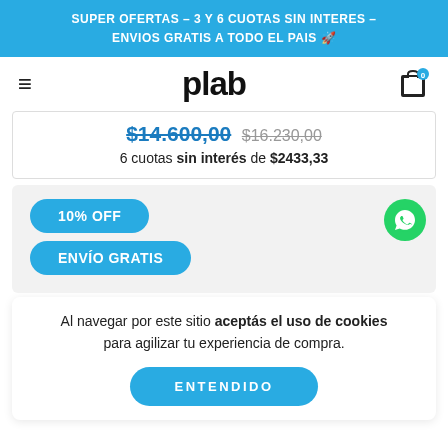SUPER OFERTAS – 3 Y 6 CUOTAS SIN INTERES – ENVIOS GRATIS A TODO EL PAIS 🚀
plab
$14.600,00 $16.230,00
6 cuotas sin interés de $2433,33
10% OFF
ENVÍO GRATIS
Al navegar por este sitio aceptás el uso de cookies para agilizar tu experiencia de compra.
ENTENDIDO